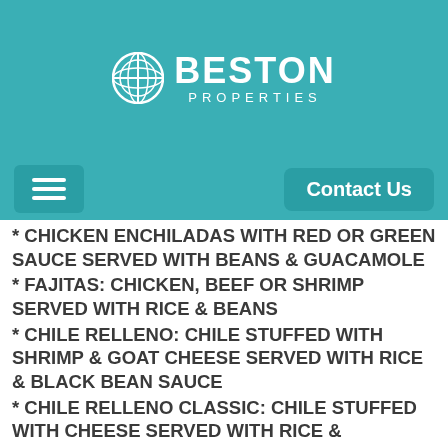[Figure (logo): Beston Properties logo with circular emblem and text on teal background]
Contact Us
* CHICKEN ENCHILADAS WITH RED OR GREEN SAUCE SERVED WITH BEANS & GUACAMOLE
* FAJITAS: CHICKEN, BEEF OR SHRIMP SERVED WITH RICE & BEANS
* CHILE RELLENO: CHILE STUFFED WITH SHRIMP & GOAT CHEESE SERVED WITH RICE & BLACK BEAN SAUCE
* CHILE RELLENO CLASSIC: CHILE STUFFED WITH CHEESE SERVED WITH RICE & GUACAMOLE
* CHILES RELLENO EN NOGADA: A TRADITIONAL